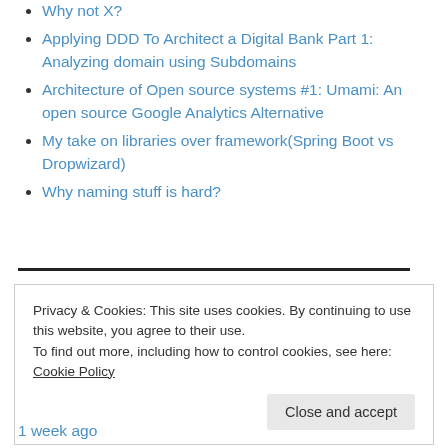Why not X?
Applying DDD To Architect a Digital Bank Part 1: Analyzing domain using Subdomains
Architecture of Open source systems #1: Umami: An open source Google Analytics Alternative
My take on libraries over framework(Spring Boot vs Dropwizard)
Why naming stuff is hard?
Privacy & Cookies: This site uses cookies. By continuing to use this website, you agree to their use.
To find out more, including how to control cookies, see here: Cookie Policy
Close and accept
1 week ago